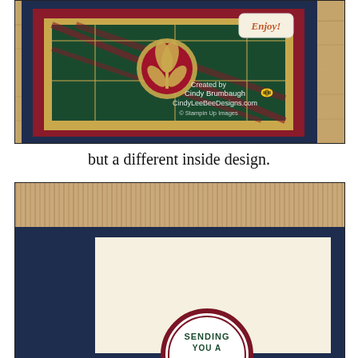[Figure (photo): Photo of a handmade greeting card (exterior) with a plaid dark green and navy background, red mat layer, gold mat layer, gold foil leaf/flower die-cut ornament in center, a sentiment tag reading 'Enjoy!' in upper right, wooden table surface background. Watermark reads 'Created by Cindy Brumbaugh / CindyLeeBeeDesigns.com / © Stampin Up Images']
but a different inside design.
[Figure (photo): Photo of the inside of a handmade greeting card showing navy blue card base open, kraft striped/corrugated background, cream/vanilla interior panel, and a round circle stamp in dark red/maroon with green script lettering reading 'SENDING YOU A Cup' with a small decorative flourish at the bottom.]